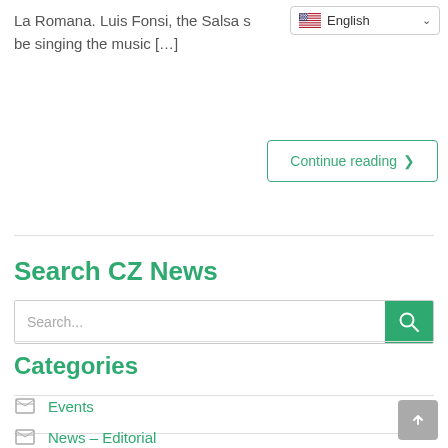La Romana. Luis Fonsi, the Salsa s… be singing the music [...]
English
Continue reading ❯
Search CZ News
Search...
Categories
Events
News – Editorial